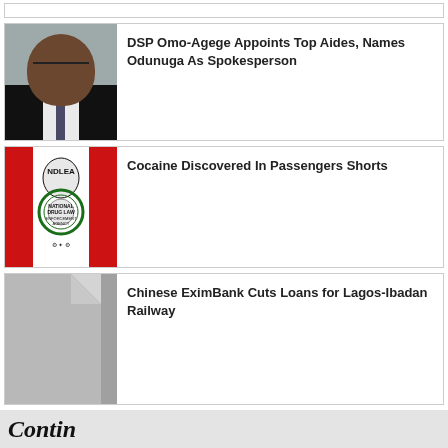[Figure (other): Empty top bar placeholder]
[Figure (photo): Headshot of DSP Omo-Agege, a man in dark suit with white shirt and tie against grey background]
DSP Omo-Agege Appoints Top Aides, Names Odunuga As Spokesperson
[Figure (logo): NDLEA (National Drug Law Enforcement Agency) logo on red and white background]
Cocaine Discovered In Passengers Shorts
[Figure (other): Grey document placeholder image with folded corner]
Chinese EximBank Cuts Loans for Lagos-Ibadan Railway
Contin...